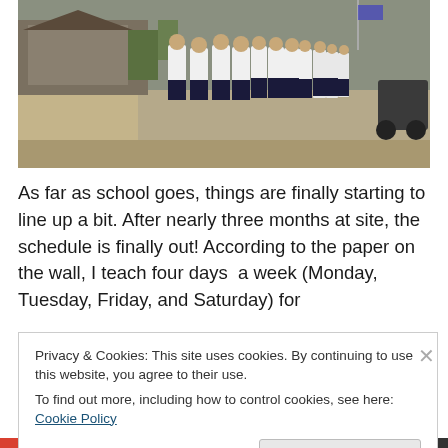[Figure (photo): Students in white shirts and dark shorts/pants marching in formation along a road, with buildings and motorcycles visible in the background.]
As far as school goes, things are finally starting to line up a bit. After nearly three months at site, the schedule is finally out! According to the paper on the wall, I teach four days  a week (Monday, Tuesday, Friday, and Saturday) for
Privacy & Cookies: This site uses cookies. By continuing to use this website, you agree to their use.
To find out more, including how to control cookies, see here: Cookie Policy